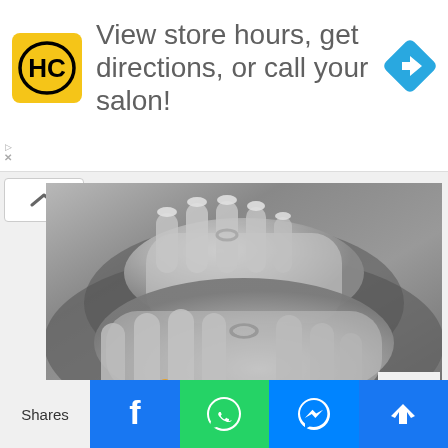[Figure (other): Advertisement banner with HC logo (black H and C letters on yellow background), text 'View store hours, get directions, or call your salon!' and a blue diamond-shaped direction arrow icon on the right]
[Figure (photo): Black and white photograph of two hands with manicured white nails resting on top of each other on a grey fabric surface. One hand has a ring on the ring finger.]
Source
Shares